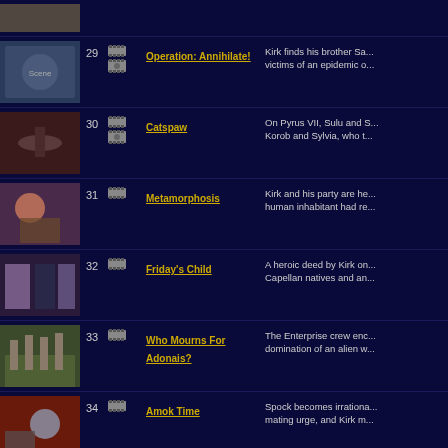29 Operation: Annihilate! — Kirk finds his brother Sa... victims of an epidemic o...
30 Catspaw — On Pyrus VII, Sulu and S... Korob and Sylvia, who t...
31 Metamorphosis — Kirk and his party are he... human inhabitant had re...
32 Friday's Child — A heroic deed by Kirk on... Capellan natives and an...
33 Who Mourns For Adonais? — The Enterprise crew enc... domination of an alien w...
34 Amok Time — Spock becomes irrationa... mating urge, and Kirk m...
35 The Doomsday Machine — Kirk is stuck on a disable... control of the Enterprise...
36 Wolf In The Fold — Has a head injury to Sco...